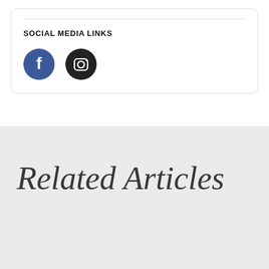SOCIAL MEDIA LINKS
[Figure (illustration): Two social media icon circles: Facebook (blue circle with white 'f' logo) and Instagram (dark circle with white Instagram camera logo)]
Related Articles